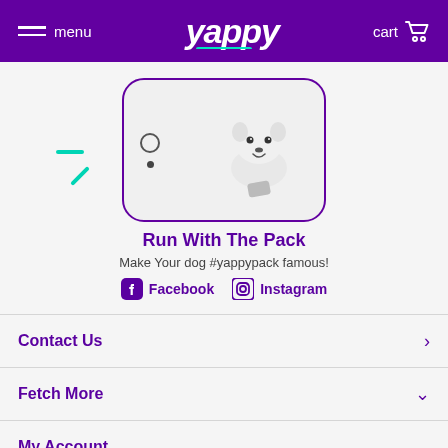menu  yappy  cart
[Figure (illustration): Phone mockup showing a dog (white Samoyed) on a phone/tablet frame with camera lens on the left side, teal decorative dashes around it]
Run With The Pack
Make Your dog #yappypack famous!
Facebook  Instagram
Contact Us
Fetch More
My Account
Shop In  United States